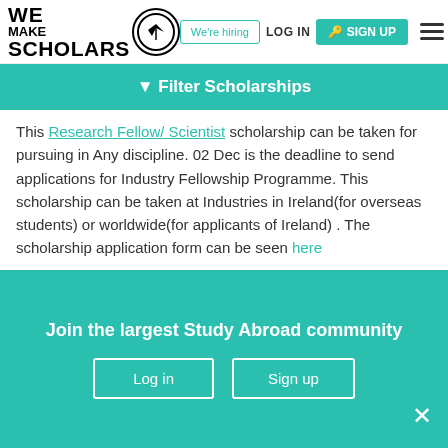WE MAKE SCHOLARS | We're hiring | LOG IN | SIGN UP
Filter Scholarships
This Research Fellow/ Scientist scholarship can be taken for pursuing in Any discipline. 02 Dec is the deadline to send applications for Industry Fellowship Programme. This scholarship can be taken at Industries in Ireland(for overseas students) or worldwide(for applicants of Ireland) . The scholarship application form can be seen here

Check out other international scholarships, fellowships and grants offered by Science Foundation Ireland
Join the largest Study Abroad community
Log in | Sign up